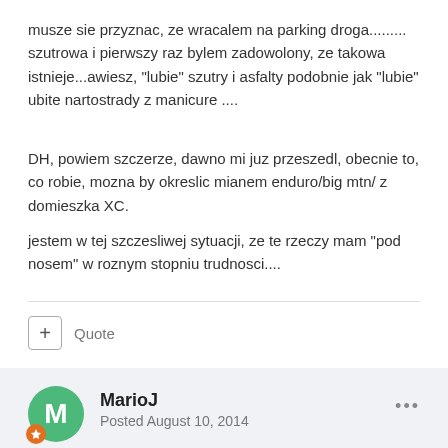musze sie przyznac, ze wracalem na parking droga......... szutrowa i pierwszy raz bylem zadowolony, ze takowa istnieje...awiesz, "lubie" szutry i asfalty podobnie jak "lubie" ubite nartostrady z manicure ....
DH, powiem szczerze, dawno mi juz przeszedl, obecnie to, co robie, mozna by okreslic mianem enduro/big mtn/ z domieszka XC.
jestem w tej szczesliwej sytuacji, ze te rzeczy mam "pod nosem" w roznym stopniu trudnosci....
Quote
MarioJ
Posted August 10, 2014